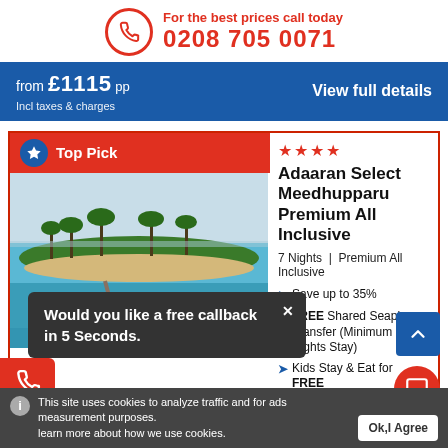For the best prices call today
0208 705 0071
from £1115 pp
Incl taxes & charges
View full details
Top Pick
[Figure (photo): Aerial photo of Maldives resort with overwater bungalows and turquoise water]
★★★★
Adaaran Select Meedhupparu Premium All Inclusive
7 Nights | Premium All Inclusive
Save up to 35%
FREE Shared Seaplane Transfer (Minimum 14 Nights Stay)
Kids Stay & Eat for FREE
Would you like a free callback in 5 Seconds.
Enquire via Email
This site uses cookies to analyze traffic and for ads measurement purposes.
learn more about how we use cookies.
Ok,I Agree